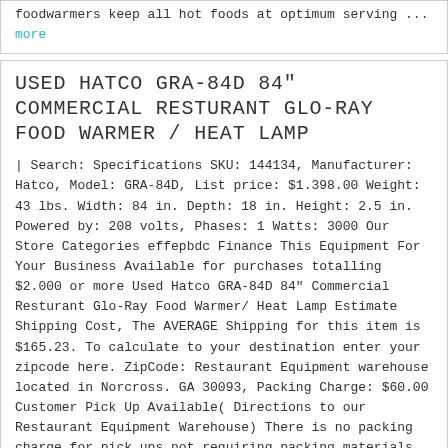foodwarmers keep all hot foods at optimum serving ... more
USED HATCO GRA-84D 84" COMMERCIAL RESTURANT GLO-RAY FOOD WARMER / HEAT LAMP
| Search: Specifications SKU: 144134, Manufacturer: Hatco, Model: GRA-84D, List price: $1.398.00 Weight: 43 lbs. Width: 84 in. Depth: 18 in. Height: 2.5 in. Powered by: 208 volts, Phases: 1 Watts: 3000 Our Store Categories effepbdc Finance This Equipment For Your Business Available for purchases totalling $2,000 or more Used Hatco GRA-84D 84" Commercial Resturant Glo-Ray Food Warmer/ Heat Lamp Estimate Shipping Cost, The AVERAGE Shipping for this item is $165.23. To calculate to your destination enter your zipcode here. ZipCode: Restaurant Equipment warehouse located in Norcross. GA 30093, Packing Charge: $60.00 Customer Pick Up Available( Directions to our Restaurant Equipment Warehouse) There is no packing charge for pick ups not requiring packing materials, 84" Commercial Restaurant Glo-Ray Food Warmer/ Heat Lamp Hatco Glo-Ray ... more
USED HATCO GRA-84D 7FT COMMERCIAL RESTAURANT GLO-RAY FOOD WARMER / HEAT LAMP
| Search: Specifications SKU: 144054, Manufacturer: Hatco, Model: GRA-84D, List price: $1.398.00 Weight: 43 lbs. Width: 84 in. Depth: 18 in. Height: 2.5 in. Powered by: 208 volts, Phases: 1 Watts: 3000 Our